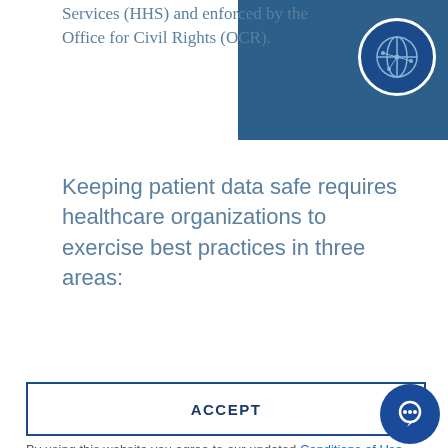Services (HHS) and enforced by the Office for Civil Rights (OCR).
[Figure (logo): Blue square block with globe/network icon circle in top right corner]
Keeping patient data safe requires healthcare organizations to exercise best practices in three areas:
Administrative Safeguards (faded background text)
ACCEPT
By using this website you agree to our updated Conditions of Use and consent to the collection and use of your personal information as described in our updated Privacy Notice, which includes the categories of data we collect and information about your preferences and rights.